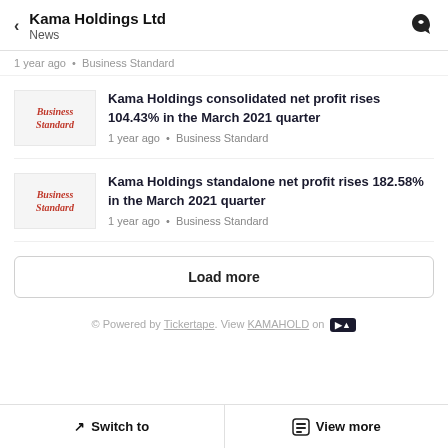Kama Holdings Ltd
News
1 year ago • Business Standard
Kama Holdings consolidated net profit rises 104.43% in the March 2021 quarter
1 year ago • Business Standard
Kama Holdings standalone net profit rises 182.58% in the March 2021 quarter
1 year ago • Business Standard
Load more
© Powered by Tickertape. View KAMAHOLD on
Switch to | View more